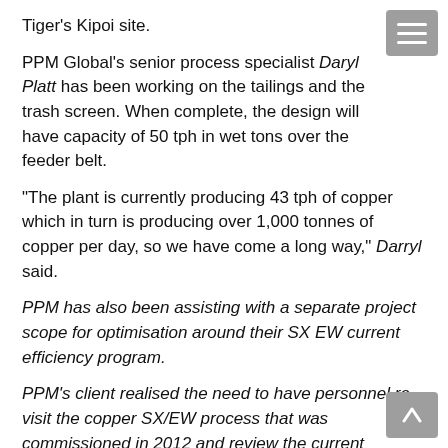Tiger's Kipoi site.
PPM Global's senior process specialist Daryl Platt has been working on the tailings and the trash screen. When complete, the design will have capacity of 50 tph in wet tons over the feeder belt.
“The plant is currently producing 43 tph of copper which in turn is producing over 1,000 tonnes of copper per day, so we have come a long way,” Darryl said.
PPM has also been assisting with a separate project scope for optimisation around their SX EW current efficiency program.
PPM’s client realised the need to have personnel re-visit the copper SX/EW process that was commissioned in 2012 and review the current operating practises.
PPM was asked to present a proposal that would allow the client to lift the knowledge and skills level by reinforcing best practice recommendations, so that Kipoi’s site team could move towards maximisation of operability throughout the copper production plant. This involved reviewing the current practices used by the operations